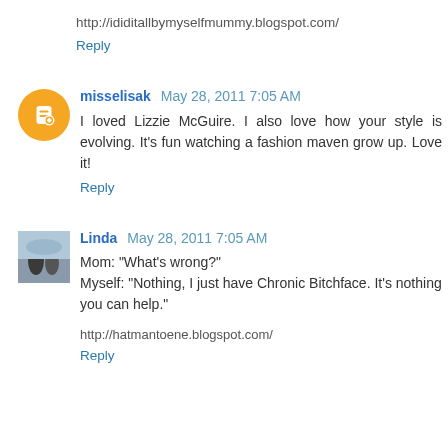http://ididitallbymyselfmummy.blogspot.com/
Reply
misselisak May 28, 2011 7:05 AM
I loved Lizzie McGuire. I also love how your style is evolving. It's fun watching a fashion maven grow up. Love it!
Reply
Linda May 28, 2011 7:05 AM
Mom: "What's wrong?"
Myself: "Nothing, I just have Chronic Bitchface. It's nothing you can help."
http://hatmantoene.blogspot.com/
Reply